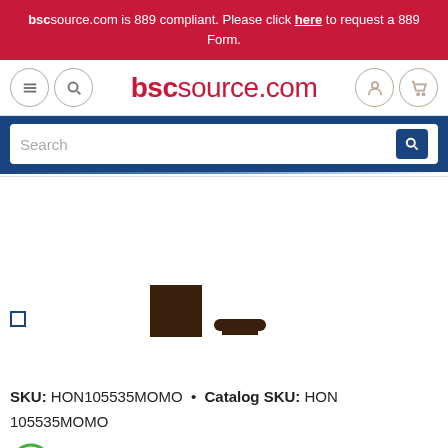bscsource.com is 889 compliant. Please click here to request a 889 Form.
[Figure (screenshot): bscsource.com website navigation header with hamburger menu, search icon, logo, user icon, and cart icon]
[Figure (screenshot): Search bar with blue background and search field]
[Figure (photo): Product thumbnail images showing dark brown color swatch and a curved handle/hook accessory]
SKU: HON105535MOMO • Catalog SKU: HON 105535MOMO
[Figure (logo): TAA logo - partial green and yellow circular badge visible at bottom]